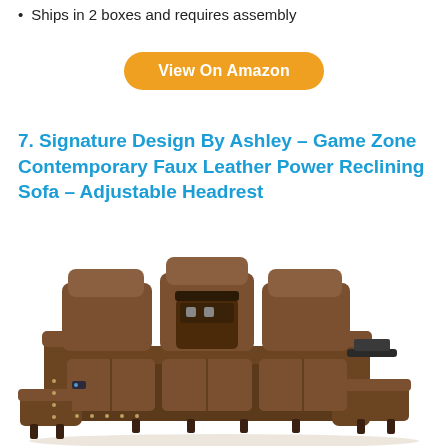Ships in 2 boxes and requires assembly
View On Amazon
7. Signature Design By Ashley – Game Zone Contemporary Faux Leather Power Reclining Sofa – Adjustable Headrest
[Figure (photo): Brown faux leather power reclining sofa with adjustable headrests, center console with storage, and side recliners extended, shown from a front-angle view.]